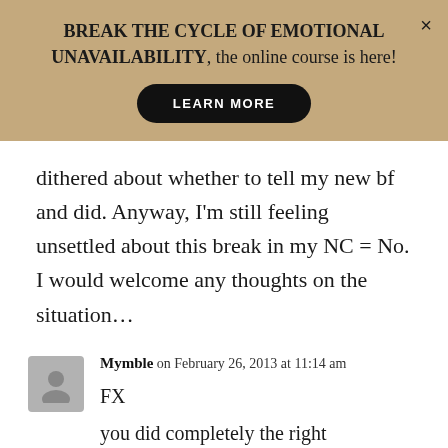[Figure (other): Golden/tan banner advertisement with close button (×), text 'BREAK THE CYCLE OF EMOTIONAL UNAVAILABILITY, the online course is here!' and a black rounded 'LEARN MORE' button]
dithered about whether to tell my new bf and did. Anyway, I'm still feeling unsettled about this break in my NC = No. I would welcome any thoughts on the situation…
Mymble on February 26, 2013 at 11:14 am
FX
you did completely the right